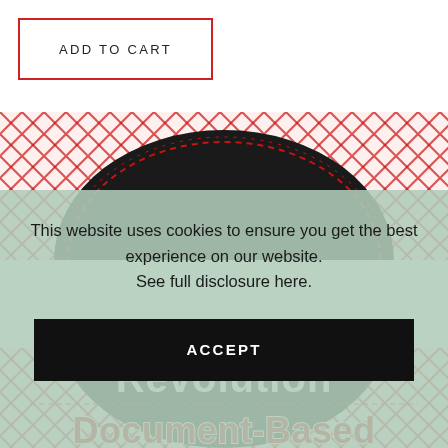[Figure (screenshot): ADD TO CART button with red border on white background]
[Figure (photo): Product image showing red diamond/crosshatch pattern background with dark circular element, top portion visible]
This website uses cookies to ensure you get the best experience on our website.
See full disclosure here.
[Figure (screenshot): ACCEPT button - black rectangle with white bold text]
[Figure (photo): Product image bottom portion showing 'Revolution' in white bold text and 'Document-Based' in red bold text on dark background with red diamond pattern border]